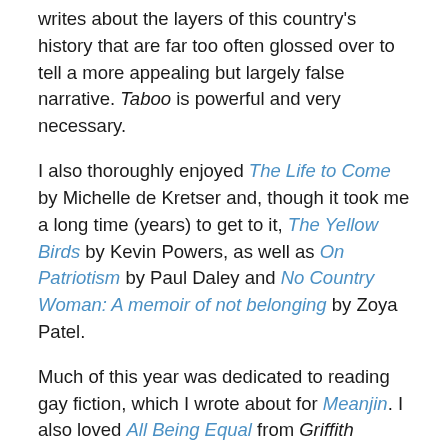writes about the layers of this country's history that are far too often glossed over to tell a more appealing but largely false narrative. Taboo is powerful and very necessary.
I also thoroughly enjoyed The Life to Come by Michelle de Kretser and, though it took me a long time (years) to get to it, The Yellow Birds by Kevin Powers, as well as On Patriotism by Paul Daley and No Country Woman: A memoir of not belonging by Zoya Patel.
Much of this year was dedicated to reading gay fiction, which I wrote about for Meanjin. I also loved All Being Equal from Griffith Review, because it includes a suite of novellas that explore the contemporary gay experience, and because the stories are deeply moving.
Finally, I was lucky enough to read advance copies of two wonderfully adventurous novels that will be released in